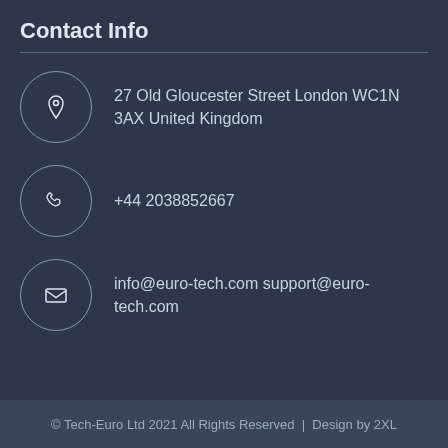Contact Info
27 Old Gloucester Street London WC1N 3AX United Kingdom
+44 2038852667
info@euro-tech.com support@euro-tech.com
© Tech-Euro Ltd 2021 All Rights Reserved  |  Design by 2XL